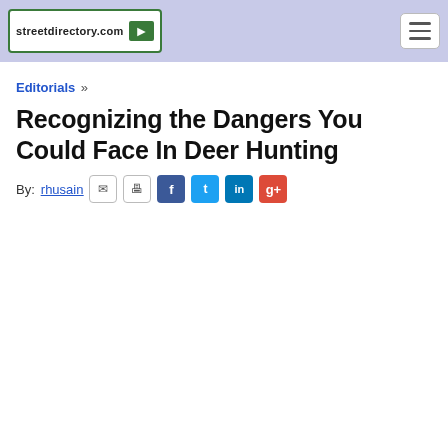streetdirectory.com
Editorials »
Recognizing the Dangers You Could Face In Deer Hunting
By: rhusain